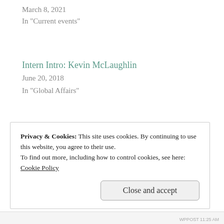March 8, 2021
In "Current events"
Intern Intro: Kevin McLaughlin
June 20, 2018
In "Global Affairs"
Like this:
Loading...
Privacy & Cookies: This site uses cookies. By continuing to use this website, you agree to their use.
To find out more, including how to control cookies, see here:
Cookie Policy
Close and accept